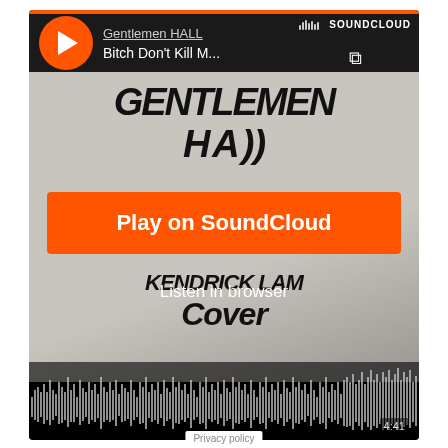[Figure (screenshot): SoundCloud player screenshot showing 'Gentlemen HALL' artist and 'Bitch Don't Kill M...' track, with graffiti background image reading 'GENTLEMEN HALL' and 'Kendrick Lamar Cover', audio waveform at bottom, orange 'Play on SoundCloud' button and 'Listen in browser' link overlay.]
Privacy policy